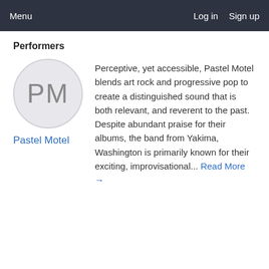Menu   Log in   Sign up
Performers
[Figure (illustration): Circular avatar placeholder with initials PM in grey on light grey background]
Pastel Motel
Perceptive, yet accessible, Pastel Motel blends art rock and progressive pop to create a distinguished sound that is both relevant, and reverent to the past. Despite abundant praise for their albums, the band from Yakima, Washington is primarily known for their exciting, improvisational... Read More →